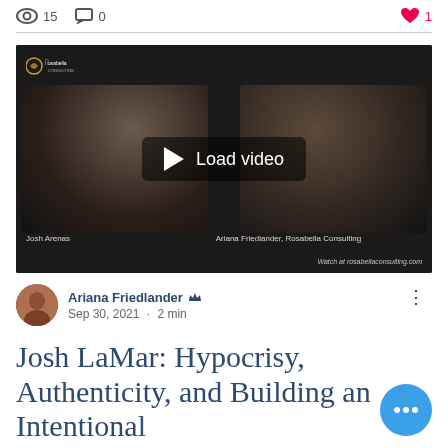15  0  1
[Figure (screenshot): Video thumbnail showing two people in a dark video call setting with a 'Load video' play button overlay and Rosabella Consulting logo in top left. Bottom labels show 'Josh Arenas' on left and 'Ariana Friedlander, Rosabella Consulting' on right. Watermark reads 'Watch at rosabellaconsulting.com']
Ariana Friedlander 👑
Sep 30, 2021 · 2 min
Josh LaMar: Hypocrisy, Authenticity, and Building an Intentional Culture